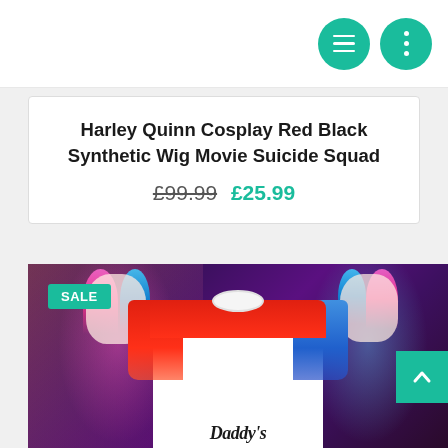[Figure (screenshot): Top navigation bar with white background and two teal circular icon buttons (hamburger menu and ellipsis/more options) on the right]
Harley Quinn Cosplay Red Black Synthetic Wig Movie Suicide Squad
£99.99 £25.99
[Figure (photo): Product listing image showing a Harley Quinn Daddy's Lil Monster red white and blue long sleeve shirt on a Suicide Squad themed background with two images of Harley Quinn character. A green SALE badge is in the top left corner. A teal back-to-top arrow button is on the right side.]